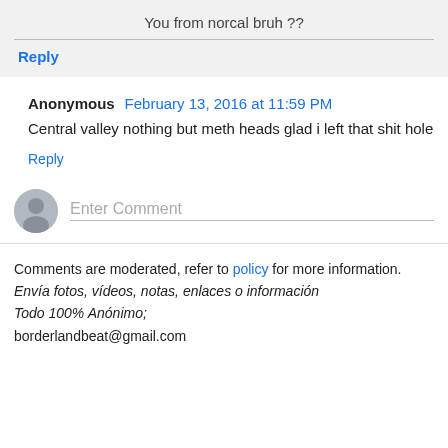You from norcal bruh ??
Reply
Anonymous  February 13, 2016 at 11:59 PM
Central valley nothing but meth heads glad i left that shit hole
Reply
Enter Comment
Comments are moderated, refer to policy for more information.
Envía fotos, vídeos, notas, enlaces o información
Todo 100% Anónimo;
borderlandbeat@gmail.com